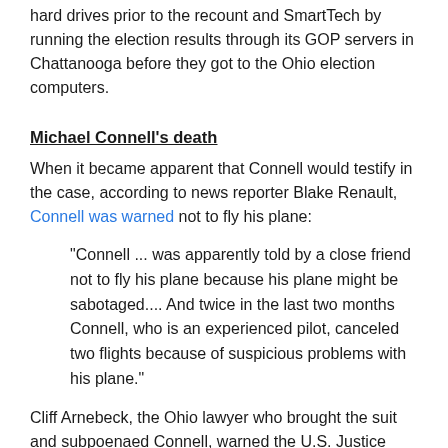hard drives prior to the recount and SmartTech by running the election results through its GOP servers in Chattanooga before they got to the Ohio election computers.
Michael Connell's death
When it became apparent that Connell would testify in the case, according to news reporter Blake Renault, Connell was warned not to fly his plane:
"Connell ... was apparently told by a close friend not to fly his plane because his plane might be sabotaged.... And twice in the last two months Connell, who is an experienced pilot, canceled two flights because of suspicious problems with his plane."
Cliff Arnebeck, the Ohio lawyer who brought the suit and subpoenaed Connell, warned the U.S. Justice Department that Connell's life might be in danger, and requested witness protection. Arnebeck wrote: